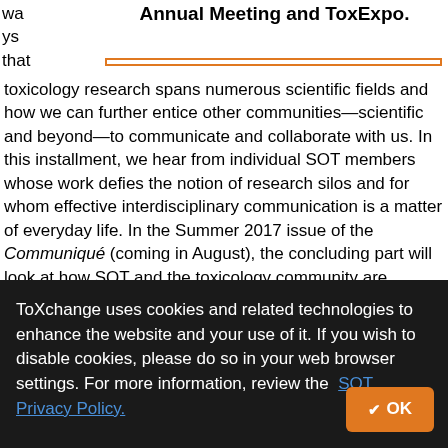Annual Meeting and ToxExpo.
wa
ys
that
toxicology research spans numerous scientific fields and how we can further entice other communities—scientific and beyond—to communicate and collaborate with us. In this installment, we hear from individual SOT members whose work defies the notion of research silos and for whom effective interdisciplinary communication is a matter of everyday life. In the Summer 2017 issue of the Communiqué (coming in August), the concluding part will look at how SOT and the toxicology community are working to build bridges between our discipline and others.

From an individual standpoint, toxicological research trends
ToXchange uses cookies and related technologies to enhance the website and your use of it. If you wish to disable cookies, please do so in your web browser settings. For more information, review the SOT Privacy Policy.